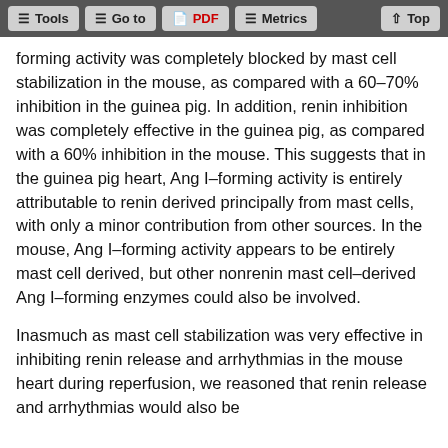Tools | Go to | PDF | Metrics | Top
forming activity was completely blocked by mast cell stabilization in the mouse, as compared with a 60–70% inhibition in the guinea pig. In addition, renin inhibition was completely effective in the guinea pig, as compared with a 60% inhibition in the mouse. This suggests that in the guinea pig heart, Ang I–forming activity is entirely attributable to renin derived principally from mast cells, with only a minor contribution from other sources. In the mouse, Ang I–forming activity appears to be entirely mast cell derived, but other nonrenin mast cell–derived Ang I–forming enzymes could also be involved.
Inasmuch as mast cell stabilization was very effective in inhibiting renin release and arrhythmias in the mouse heart during reperfusion, we reasoned that renin release and arrhythmias would also be